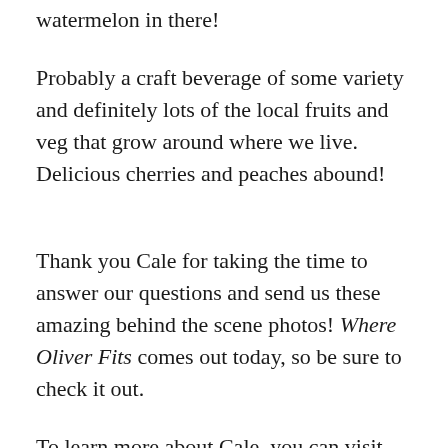watermelon in there!
Probably a craft beverage of some variety and definitely lots of the local fruits and veg that grow around where we live. Delicious cherries and peaches abound!
Thank you Cale for taking the time to answer our questions and send us these amazing behind the scene photos! Where Oliver Fits comes out today, so be sure to check it out.
To learn more about Cale, you can visit him on his website or follow him on Twitter and/or